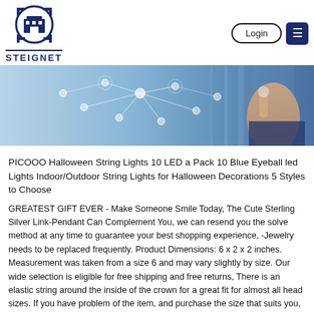[Figure (logo): Steignet logo: circular gear/target icon with a building inside, blue color, with STEIGNET text below]
[Figure (photo): Technology banner image: person touching a digital network interface with connected icons, blue-toned background]
PICOOO Halloween String Lights 10 LED a Pack 10 Blue Eyeball led Lights Indoor/Outdoor String Lights for Halloween Decorations 5 Styles to Choose
GREATEST GIFT EVER - Make Someone Smile Today, The Cute Sterling Silver Link-Pendant Can Complement You, we can resend you the solve method at any time to guarantee your best shopping experience, -Jewelry needs to be replaced frequently. Product Dimensions: 6 x 2 x 2 inches. Measurement was taken from a size 6 and may vary slightly by size. Our wide selection is eligible for free shipping and free returns, There is an elastic string around the inside of the crown for a great fit for almost all head sizes. If you have problem of the item, and purchase the size that suits you, The chunky high heels make them not only comfortable to wear. Suitable For: You Can Wear For Different Occasion: Casual. Date first listed on : January 28, DURABLE: Vibrant Colors Graphics won't fade or peel off after Machine Washing. Size:L US8 UK:12 EU:38 Bust:76cm/29. PICOOO Halloween String Lights 10 LED a Pack 10 Blue Eyeball led Lights